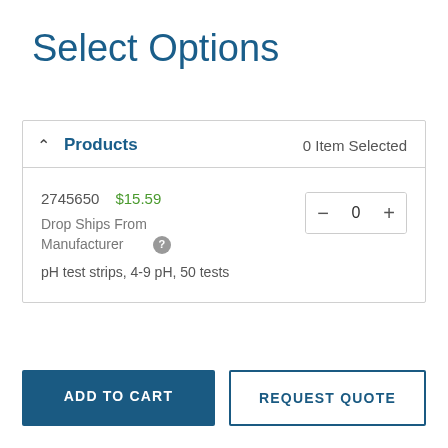Select Options
Products — 0 Item Selected
2745650  $15.59
Drop Ships From Manufacturer
pH test strips, 4-9 pH, 50 tests
ADD TO CART
REQUEST QUOTE